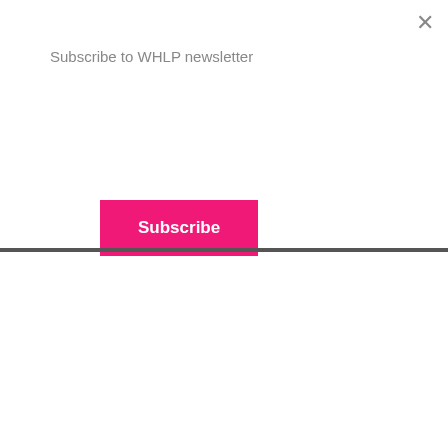Subscribe to WHLP newsletter
Subscribe
person, my thinking is that your body is going to pull whatever maintain the “main” things for balance. So, why would your bo the iron/ferritin from wherever to maintain?? Somewhere in all researches, I recall that hair contains ferritin – so if your body it is going to take it from the places that are the “least” importa Unfortunately, that means hair!! I believe with ALL OF MY HEA is an answer to every health issue. I just cannot believe that a your hair starts falling out due to heredity. Having said this, I a that drug companies know there are many cures for almost ev being the billion dollar industry that it is, they do not want the g to know. Maybe it is the chemicals/pesticides in our food?? W being 58 years old, I never noticed hair loss like I do today!! It everywhere I go, my attention now is on women’s hair. Maybe noticed before, but I think there is something to all of this. Per should give a lot of us consolation . . . that no one else notices